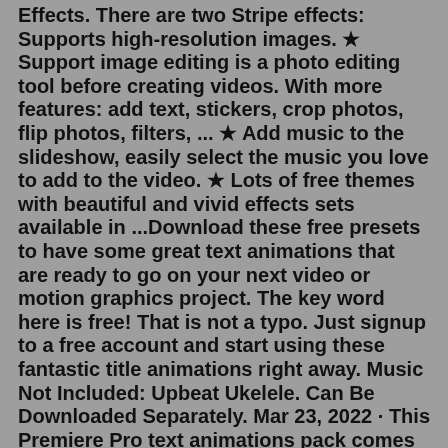Effects. There are two Stripe effects: Supports high-resolution images. ★ Support image editing is a photo editing tool before creating videos. With more features: add text, stickers, crop photos, flip photos, filters, ... ★ Add music to the slideshow, easily select the music you love to add to the video. ★ Lots of free themes with beautiful and vivid effects sets available in ...Download these free presets to have some great text animations that are ready to go on your next video or motion graphics project. The key word here is free! That is not a typo. Just signup to a free account and start using these fantastic title animations right away. Music Not Included: Upbeat Ukelele. Can Be Downloaded Separately. Mar 23, 2022 · This Premiere Pro text animations pack comes with a set of fast-paced text effects. They feature stomp-style text animations that allow you to create titles and text with quick animations. You can choose from multiple styles of effects. These are especially suitable for short Instagram and TikTok videos and